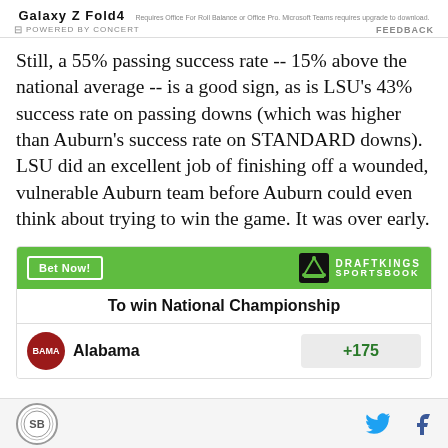[Figure (other): Advertisement banner: Galaxy Z Fold4 - Powered by Concert / Feedback]
Still, a 55% passing success rate -- 15% above the national average -- is a good sign, as is LSU's 43% success rate on passing downs (which was higher than Auburn's success rate on STANDARD downs). LSU did an excellent job of finishing off a wounded, vulnerable Auburn team before Auburn could even think about trying to win the game. It was over early.
[Figure (other): DraftKings Sportsbook widget: Bet Now! button, DraftKings Sportsbook logo, To win National Championship table row showing Alabama +175]